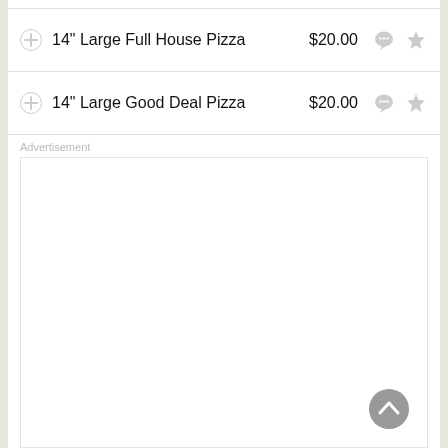14" Large Full House Pizza  $20.00
14" Large Good Deal Pizza  $20.00
Advertisement